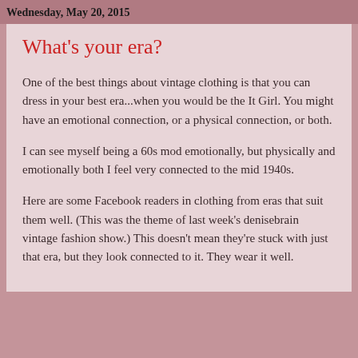Wednesday, May 20, 2015
What's your era?
One of the best things about vintage clothing is that you can dress in your best era...when you would be the It Girl. You might have an emotional connection, or a physical connection, or both.
I can see myself being a 60s mod emotionally, but physically and emotionally both I feel very connected to the mid 1940s.
Here are some Facebook readers in clothing from eras that suit them well. (This was the theme of last week’s denisebrain vintage fashion show.) This doesn’t mean they’re stuck with just that era, but they look connected to it. They wear it well.